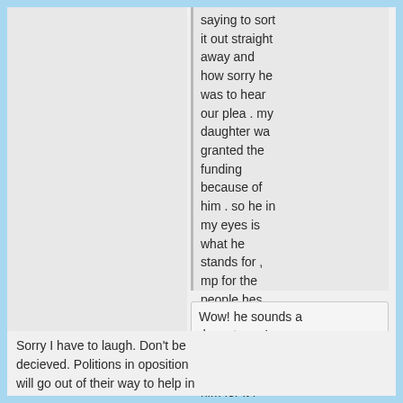saying to sort it out straight away and how sorry he was to hear our plea . my daughter wa granted the funding because of him . so he in my eyes is what he stands for , mp for the people hes my local mp and he did what i asked . and i thank him for it .
Wow! he sounds a decent man!
Sorry I have to laugh. Don't be decieved. Politions in oposition will go out of their way to help in